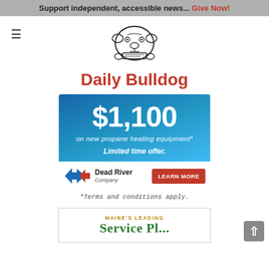Support independent, accessible news... Give Now!
[Figure (logo): Daily Bulldog bulldog mascot logo holding a newspaper]
Daily Bulldog
[Figure (infographic): Dead River Company ad: $1,100 on new propane heating equipment* Limited time offer. Learn More button.]
*Terms and conditions apply.
[Figure (infographic): Maine's Leading — partial second advertisement banner visible at bottom]